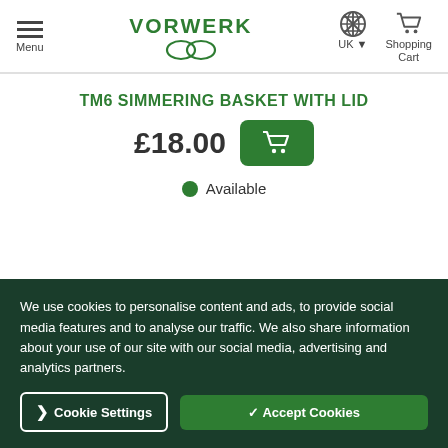Menu | VORWERK | UK | Shopping Cart
TM6 SIMMERING BASKET WITH LID
£18.00
Available
We use cookies to personalise content and ads, to provide social media features and to analyse our traffic. We also share information about your use of our site with our social media, advertising and analytics partners.
Cookie Settings | ✓ Accept Cookies